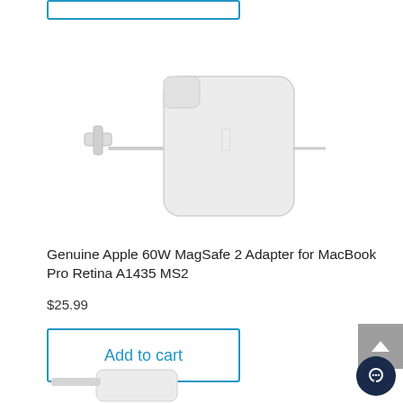[Figure (photo): Genuine Apple 60W MagSafe 2 power adapter — white square power brick with T-shaped magnetic connector on a cable, shown on white background]
Genuine Apple 60W MagSafe 2 Adapter for MacBook Pro Retina A1435 MS2
$25.99
Add to cart